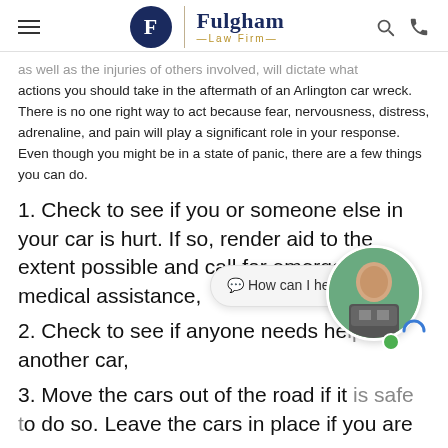Fulgham Law Firm
as well as the injuries of others involved, will dictate what actions you should take in the aftermath of an Arlington car wreck. There is no one right way to act because fear, nervousness, distress, adrenaline, and pain will play a significant role in your response. Even though you might be in a state of panic, there are a few things you can do.
1. Check to see if you or someone else in your car is hurt. If so, render aid to the extent possible and call for emergency medical assistance,
2. Check to see if anyone needs help in another car,
3. Move the cars out of the road if it is safe to do so. Leave the cars in place if you are